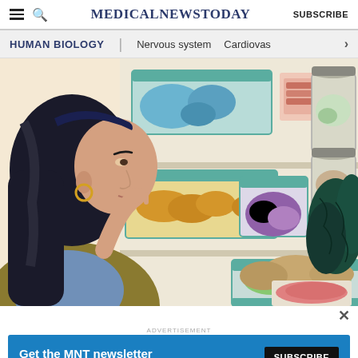MedicalNewsToday | SUBSCRIBE
HUMAN BIOLOGY | Nervous system | Cardiovas
[Figure (illustration): Illustration of a woman with dark hair and gold earring, hand on chin in thoughtful pose, looking at an open refrigerator filled with food containers, vegetables, meat, leafy greens, and various storage jars.]
ADVERTISEMENT
[Figure (screenshot): Blue advertisement banner: 'Get the MNT newsletter - Subscribe to receive our top news articles' with a black SUBSCRIBE button on the right.]